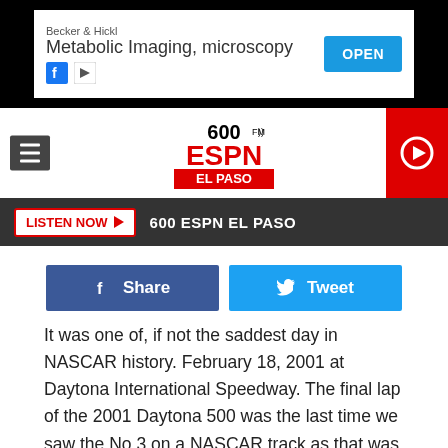[Figure (screenshot): Ad banner: Becker & Hickl - Metabolic Imaging, microscopy with OPEN button]
[Figure (logo): 600 AM ESPN El Paso radio station logo]
LISTEN NOW  600 ESPN EL PASO
Share   Tweet
It was one of, if not the saddest day in NASCAR history. February 18, 2001 at Daytona International Speedway. The final lap of the 2001 Daytona 500 was the last time we saw the No 3 on a NASCAR track as that was the day we lost Dale Earnhardt. Ironically, he died being a great teammate to winner Michael Waltrip and his son, Dale Jr.